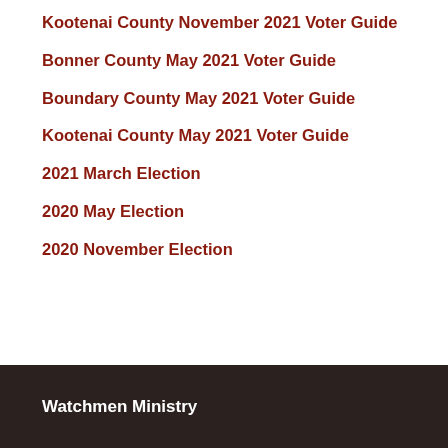Kootenai County November 2021 Voter Guide
Bonner County May 2021 Voter Guide
Boundary County May 2021 Voter Guide
Kootenai County May 2021 Voter Guide
2021 March Election
2020 May Election
2020 November Election
Watchmen Ministry